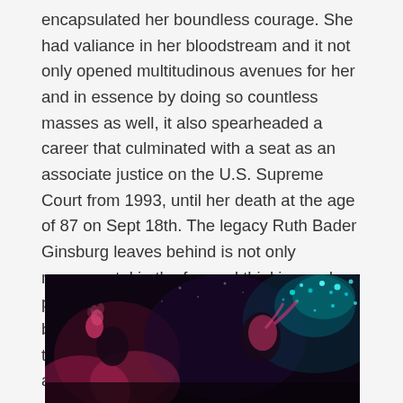encapsulated her boundless courage. She had valiance in her bloodstream and it not only opened multitudinous avenues for her and in essence by doing so countless masses as well, it also spearheaded a career that culminated with a seat as an associate justice on the U.S. Supreme Court from 1993, until her death at the age of 87 on Sept 18th. The legacy Ruth Bader Ginsburg leaves behind is not only monumental in the forward thinking and propulsion for women all over the world, but for all genders and all people all over the world, the likes of which we may never again see in our lifetime.
[Figure (photo): A dark performance photo showing a person with hands raised and head tilted back, with teal/green sparkle lighting effects visible on the right side. The background is dark with warm pink/magenta stage lighting.]